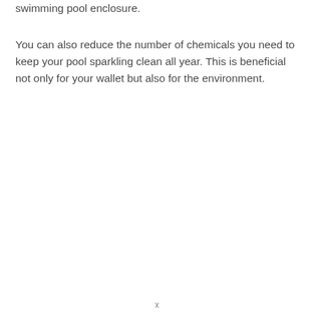swimming pool enclosure.
You can also reduce the number of chemicals you need to keep your pool sparkling clean all year. This is beneficial not only for your wallet but also for the environment.
x